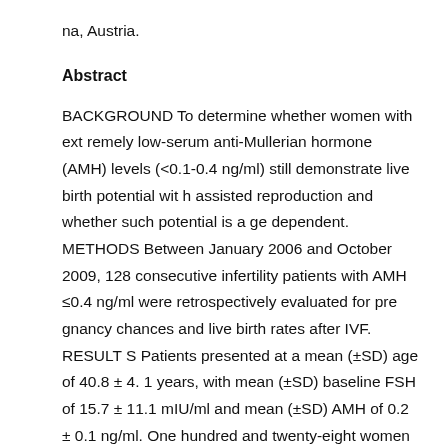na, Austria.
Abstract
BACKGROUND To determine whether women with extremely low-serum anti-Mullerian hormone (AMH) levels (<0.1-0.4 ng/ml) still demonstrate live birth potential with assisted reproduction and whether such potential is age dependent. METHODS Between January 2006 and October 2009, 128 consecutive infertility patients with AMH ≤0.4 ng/ml were retrospectively evaluated for pregnancy chances and live birth rates after IVF. RESULTS Patients presented at a mean (±SD) age of 40.8 ± 4.1 years, with mean (±SD) baseline FSH of 15.7 ± 11.1 mIU/ml and mean (±SD) AMH of 0.2 ± 0.1 ng/ml. One hundred and twenty-eight women underwent a total of 354 IVF cycles. Twenty clinical pregnancies were reco...